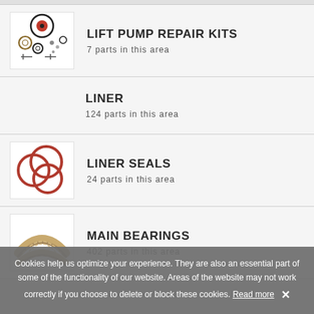LIFT PUMP REPAIR KITS — 7 parts in this area
LINER — 124 parts in this area
LINER SEALS — 24 parts in this area
MAIN BEARINGS — 402 parts in this area
Cookies help us optimize your experience. They are also an essential part of some of the functionality of our website. Areas of the website may not work correctly if you choose to delete or block these cookies. Read more ✕